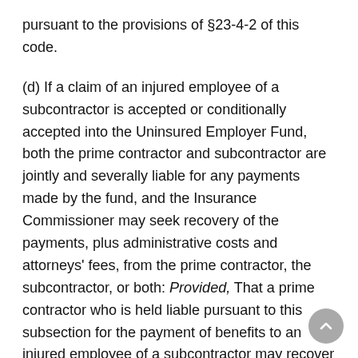pursuant to the provisions of §23-4-2 of this code.
(d) If a claim of an injured employee of a subcontractor is accepted or conditionally accepted into the Uninsured Employer Fund, both the prime contractor and subcontractor are jointly and severally liable for any payments made by the fund, and the Insurance Commissioner may seek recovery of the payments, plus administrative costs and attorneys' fees, from the prime contractor, the subcontractor, or both: Provided, That a prime contractor who is held liable pursuant to this subsection for the payment of benefits to an injured employee of a subcontractor may recover the amount of such payments from the subcontractor, plus reasonable attorneys' fee and costs: Provided, however, That if a prime contractor has performed due diligence in all